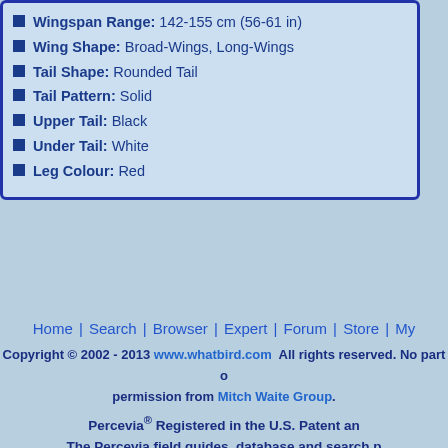Wingspan Range: 142-155 cm (56-61 in)
Wing Shape: Broad-Wings, Long-Wings
Tail Shape: Rounded Tail
Tail Pattern: Solid
Upper Tail: Black
Under Tail: White
Leg Colour: Red
Home | Search | Browser | Expert | Forum | Store | My...
Copyright © 2002 - 2013 www.whatbird.com  All rights reserved. No part o... permission from Mitch Waite Group.
Percevia® Registered in the U.S. Patent an... The Percevia field guides, database and search p...
The best bird guide and bird watching search e...